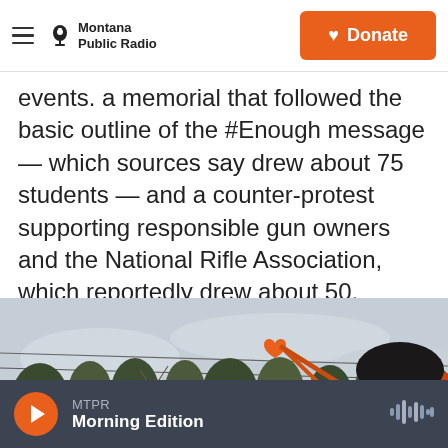Montana Public Radio | Donate
events. a memorial that followed the basic outline of the #Enough message — which sources say drew about 75 students — and a counter-protest supporting responsible gun owners and the National Rifle Association, which reportedly drew about 50.
[Figure (photo): Outdoor protest scene with people holding orange heart-shaped signs on sticks, bare trees and utility lines in background, young person with glasses visible on right]
MTPR  Morning Edition